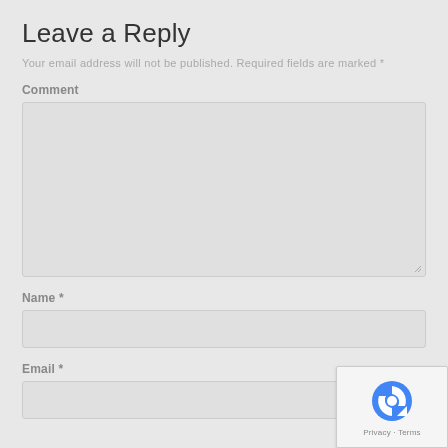Leave a Reply
Your email address will not be published. Required fields are marked *
Comment
[Figure (screenshot): Empty comment textarea input box with resize handle]
Name *
[Figure (screenshot): Empty name text input box]
Email *
[Figure (screenshot): Empty email text input box]
[Figure (screenshot): reCAPTCHA badge with Privacy and Terms links]